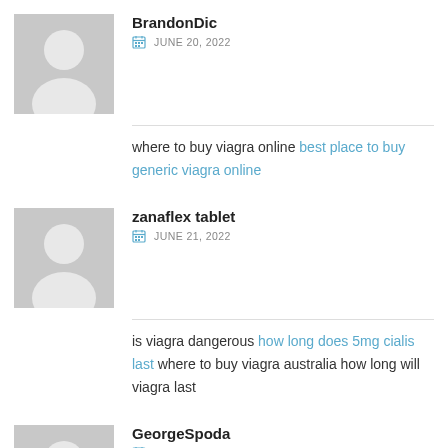[Figure (illustration): Gray placeholder avatar icon (person silhouette) for user BrandonDic]
BrandonDic
JUNE 20, 2022
where to buy viagra online best place to buy generic viagra online
[Figure (illustration): Gray placeholder avatar icon (person silhouette) for user zanaflex tablet]
zanaflex tablet
JUNE 21, 2022
is viagra dangerous how long does 5mg cialis last where to buy viagra australia how long will viagra last
[Figure (illustration): Gray placeholder avatar icon (person silhouette) for user GeorgeSpoda]
GeorgeSpoda
JUNE 22, 2022